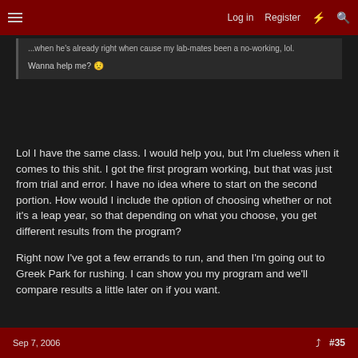Log in  Register
...when he's already right which cause my lab-mates been a no-working, lol.

Wanna help me? 😟
Lol I have the same class. I would help you, but I'm clueless when it comes to this shit. I got the first program working, but that was just from trial and error. I have no idea where to start on the second portion. How would I include the option of choosing whether or not it's a leap year, so that depending on what you choose, you get different results from the program?

Right now I've got a few errands to run, and then I'm going out to Greek Park for rushing. I can show you my program and we'll compare results a little later on if you want.
Sep 7, 2006  #35